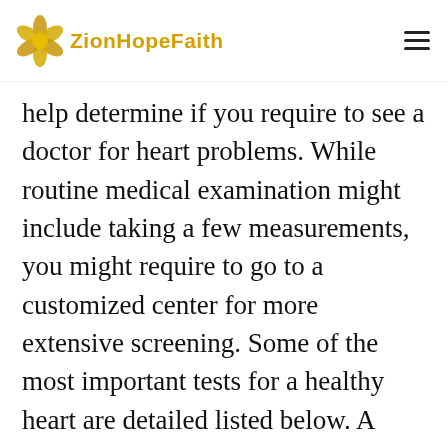ZionHopeFaith
help determine if you require to see a doctor for heart problems. While routine medical examination might include taking a few measurements, you might require to go to a customized center for more extensive screening. Some of the most important tests for a healthy heart are detailed listed below. A routine physical exam and history of any medical conditions you have can likewise help your physician decide whether or not you require to have a heart health screening.